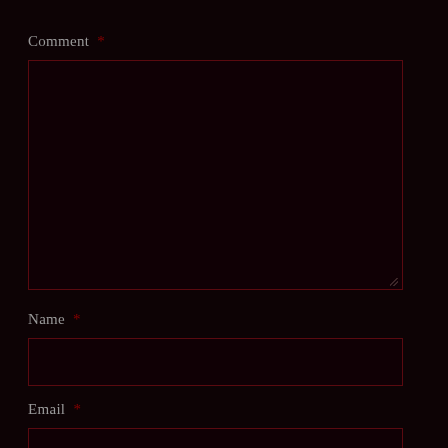Comment *
[Figure (other): Large dark textarea input box with dark red border, empty, with resize handle at bottom right]
Name *
[Figure (other): Single-line dark text input box with dark red border, empty]
Email *
[Figure (other): Single-line dark text input box with dark red border, partially visible at bottom of page]